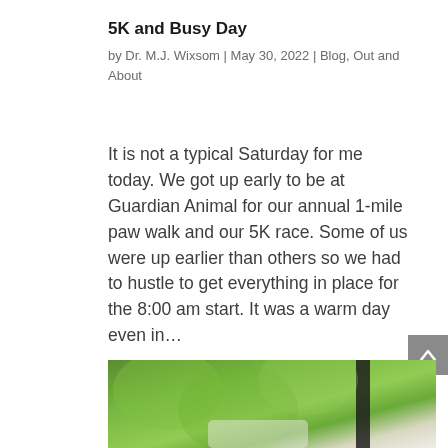5K and Busy Day
by Dr. M.J. Wixsom | May 30, 2022 | Blog, Out and About
It is not a typical Saturday for me today. We got up early to be at Guardian Animal for our annual 1-mile paw walk and our 5K race. Some of us were up earlier than others so we had to hustle to get everything in place for the 8:00 am start. It was a warm day even in...
[Figure (photo): Outdoor photo showing green trees/foliage background with a person partially visible; bottom portion of the page]